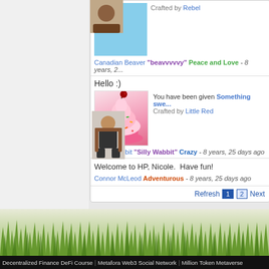Crafted by Rebel
Canadian Beaver "beavvvvvy" Peace and Love - 8 years, 2...
Hello :)
[Figure (photo): A cupcake with pink frosting, colorful sprinkles, and a cherry on top]
You have been given Something swe... Crafted by Little Red
White Rabbit "Silly Wabbit" Crazy - 8 years, 25 days ago
Welcome to HP, Nicole.  Have fun!
Connor McLeod Adventurous - 8 years, 25 days ago
Refresh 1 2 Next
Decentralized Finance DeFi Course | Metafora Web3 Social Network | Million Token Metaverse